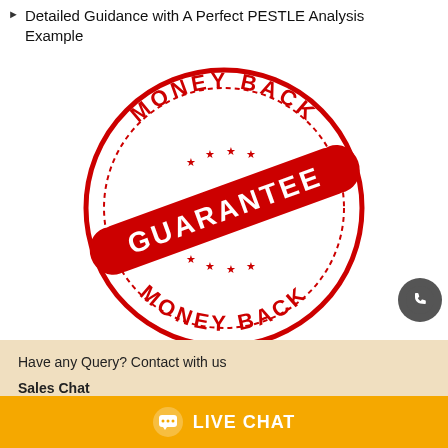Detailed Guidance with A Perfect PESTLE Analysis Example
[Figure (illustration): Red money back guarantee circular stamp with 'MONEY BACK' text arched at top and bottom, and 'GUARANTEE' text on a diagonal banner across the center, with star decorations]
[Figure (illustration): Dark grey circular phone/call button icon in the bottom right area]
Have any Query? Contact with us
Sales Chat
(New Assignment Inquiry)
Support Chat
(Assignment Already Booked)
LIVE CHAT